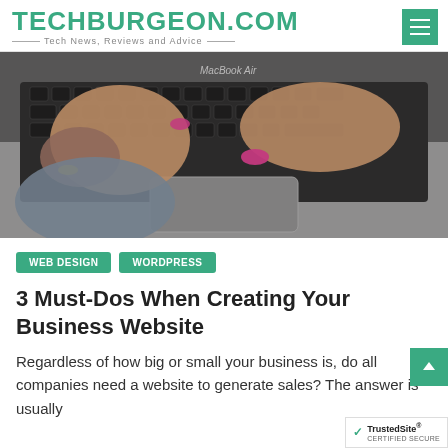TECHBURGEON.COM — Tech News, Reviews and Advice
[Figure (photo): Close-up photo of two hands with manicured nails typing on a MacBook Air keyboard, viewed from above at an angle.]
WEB DESIGN
WORDPRESS
3 Must-Dos When Creating Your Business Website
Regardless of how big or small your business is, do all companies need a website to generate sales? The answer is usually